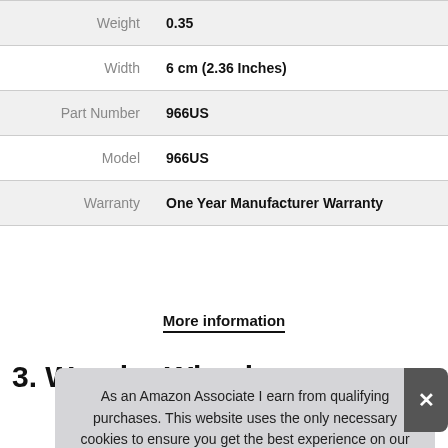| Attribute | Value |
| --- | --- |
| Weight | 0.35 |
| Width | 6 cm (2.36 Inches) |
| Part Number | 966US |
| Model | 966US |
| Warranty | One Year Manufacturer Warranty |
More information
3. Wonder Wheels
As an Amazon Associate I earn from qualifying purchases. This website uses the only necessary cookies to ensure you get the best experience on our website. More information